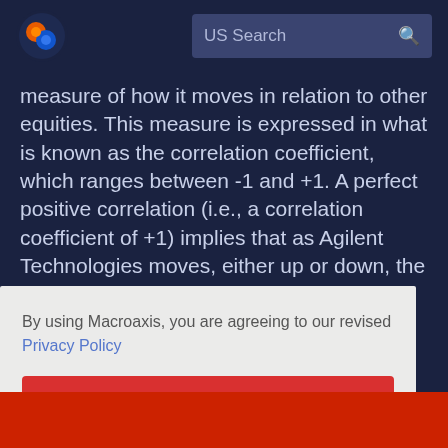[Figure (logo): Macroaxis logo: circular icon with orange and blue design]
US Search
measure of how it moves in relation to other equities. This measure is expressed in what is known as the correlation coefficient, which ranges between -1 and +1. A perfect positive correlation (i.e., a correlation coefficient of +1) implies that as Agilent Technologies moves, either up or down, the other security will move in the same direction. A perfect negative correlation means that as Agilent Technologies moves, either up or down, the other security moves in the opposite direction. Separately, the total correlation of Agilent Technologies with other securities are expressed as n
By using Macroaxis, you are agreeing to our revised Privacy Policy
OK